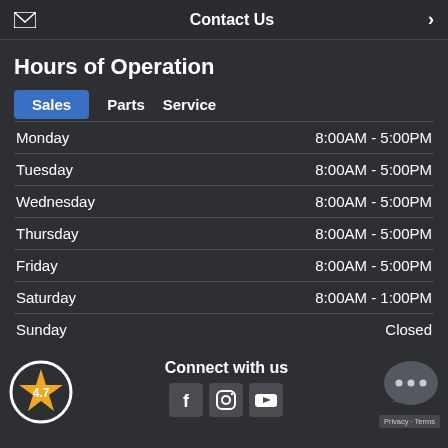Contact Us
Hours of Operation
Sales (active tab)
Parts
Service
| Day | Hours |
| --- | --- |
| Monday | 8:00AM - 5:00PM |
| Tuesday | 8:00AM - 5:00PM |
| Wednesday | 8:00AM - 5:00PM |
| Thursday | 8:00AM - 5:00PM |
| Friday | 8:00AM - 5:00PM |
| Saturday | 8:00AM - 1:00PM |
| Sunday | Closed |
[Figure (infographic): Star rating badge showing 4.7 out of 5]
Connect with us
[Figure (infographic): Social media icons: Facebook, Instagram, YouTube]
[Figure (infographic): Chat bubble icon with three dots]
Privacy · Terms